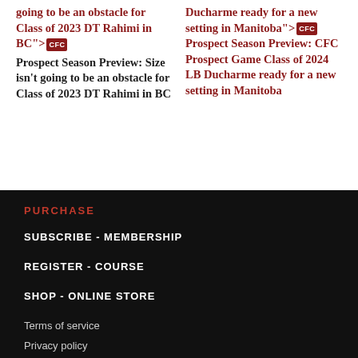Prospect Season Preview: Size isn't going to be an obstacle for Class of 2023 DT Rahimi in BC
Prospect Season Preview: CFC Prospect Game Class of 2024 LB Ducharme ready for a new setting in Manitoba
PURCHASE
SUBSCRIBE - MEMBERSHIP
REGISTER - COURSE
SHOP - ONLINE STORE
Terms of service
Privacy policy